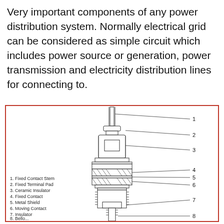Very important components of any power distribution system. Normally electrical grid can be considered as simple circuit which includes power source or generation, power transmission and electricity distribution lines for connecting to.
[Figure (engineering-diagram): Cross-sectional diagram of an electrical switch/circuit breaker contact assembly with 8 numbered parts. Labels listed: 1. Fixed Contact Stem, 2. Fixed Terminal Pad, 3. Ceramic Insulator, 4. Fixed Contact, 5. Metal Shield, 6. Moving Contact, 7. Insulator, 8. Bellows (partially visible). Callout lines point from numbers on the right to corresponding parts of the component cross-section.]